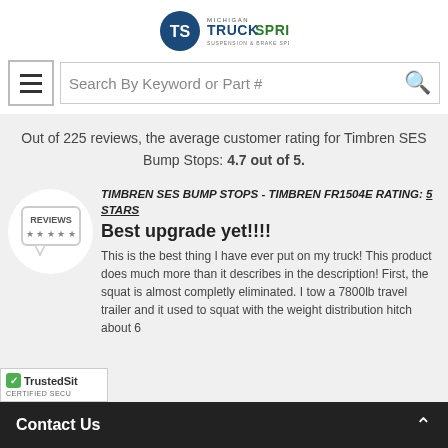Timbren SES Bump Stops Reviews
[Figure (logo): Michigan TruckSpring logo with TS emblem]
[Figure (screenshot): Search bar with hamburger menu icon and search icon]
Out of 225 reviews, the average customer rating for Timbren SES Bump Stops: 4.7 out of 5.
[Figure (illustration): Reviews icon - speech bubble with REVIEWS text and stars]
TIMBREN SES BUMP STOPS - TIMBREN FR1504E RATING: 5 STARS
Best upgrade yet!!!!
This is the best thing I have ever put on my truck! This product does much more than it describes in the description! First, the squat is almost completly eliminated. I tow a 7800lb travel trailer and it used to squat with the weight distribution hitch about 6
Contact Us